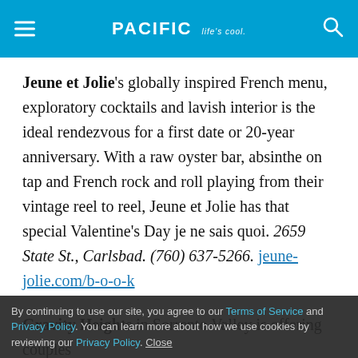PACIFIC Life's cool.
Jeune et Jolie's globally inspired French menu, exploratory cocktails and lavish interior is the ideal rendezvous for a first date or 20-year anniversary. With a raw oyster bar, absinthe on tap and French rock and roll playing from their vintage reel to reel, Jeune et Jolie has that special Valentine's Day je ne sais quoi. 2659 State St., Carlsbad. (760) 637-5266. jeune-jolie.com/b-o-o-k
Gravity Heights in Sorrento Valley is offering couples from the regular menu or the Dinner for Two, a preset menu with dishes to share, including beet salad, pork ragu
By continuing to use our site, you agree to our Terms of Service and Privacy Policy. You can learn more about how we use cookies by reviewing our Privacy Policy. Close